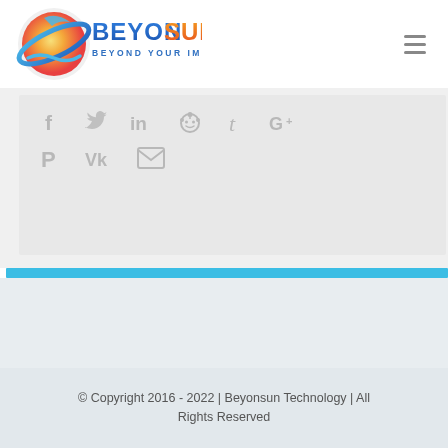[Figure (logo): Beyonsun logo with circular planet/sun graphic and text 'BEYONSUN BEYOND YOUR IMAGINATION' in blue/orange/red gradient]
[Figure (illustration): Social media share icons: Facebook, Twitter, LinkedIn, Reddit, Tumblr, Google+, Pinterest, VK, Email — all in light gray]
© Copyright 2016 - 2022  |  Beyonsun Technology  |  All Rights Reserved